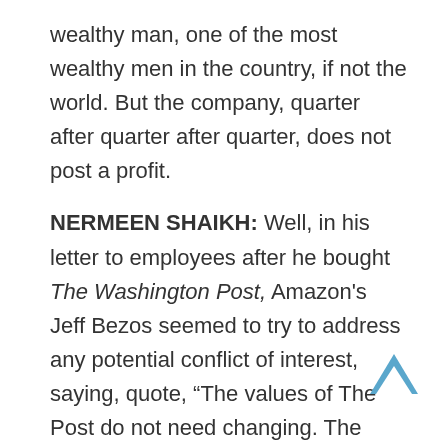wealthy man, one of the most wealthy men in the country, if not the world. But the company, quarter after quarter after quarter, does not post a profit.
NERMEEN SHAIKH: Well, in his letter to employees after he bought The Washington Post, Amazon's Jeff Bezos seemed to try to address any potential conflict of interest, saying, quote, “The values of The Post do not need changing. The paper’s duty will remain to its readers and not to the private interests of its owners.” But many people have pointed out that Amazon ranks among the biggest